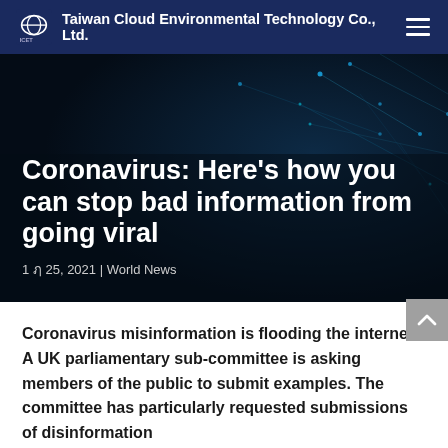Taiwan Cloud Environmental Technology Co., Ltd.
Coronavirus: Here’s how you can stop bad information from going viral
1 � 25, 2021 | World News
Coronavirus misinformation is flooding the internet. A UK parliamentary sub-committee is asking members of the public to submit examples. The committee has particularly requested submissions of disinformation